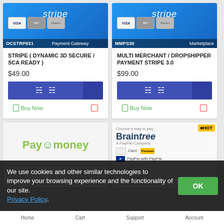[Figure (screenshot): Stripe Payment Gateway product card with OCSTRP831 code]
STRIPE ( DYNAMIC 3D SECURE / SCA READY )
$49.00
Buy Now
[Figure (screenshot): Stripe Marketplace product card with MMPS30 code]
MULTI MERCHANT / DROPSHIPPER PAYMENT STRIPE 3.0
$99.00
Buy Now
[Figure (logo): PayUmoney logo - partially visible]
[Figure (screenshot): Braintree (a PayPal Company) payment gateway - partially visible with HOT badge]
We use cookies and other similar technologies to improve your browsing experience and the functionality of our site. Privacy Policy.
OK
Home   Cart   Support   Account